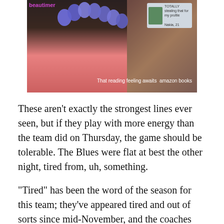[Figure (photo): Screenshot of a social media video or advertisement showing a person reading a pink book with purple balloons in the background, with Amazon Books branding text 'That reading feeling awaits amazon books' visible in the lower right, and a social media profile card in the upper right corner. 'beautimer' text visible in upper left.]
These aren't exactly the strongest lines ever seen, but if they play with more energy than the team did on Thursday, the game should be tolerable. The Blues were flat at best the other night, tired from, uh, something.
"Tired" has been the word of the season for this team; they've appeared tired and out of sorts since mid-November, and the coaches and players seem at a lost as to how to fix the problem. Despite this, the Blues